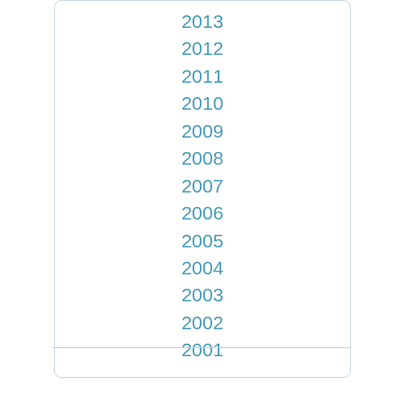2013
2012
2011
2010
2009
2008
2007
2006
2005
2004
2003
2002
2001